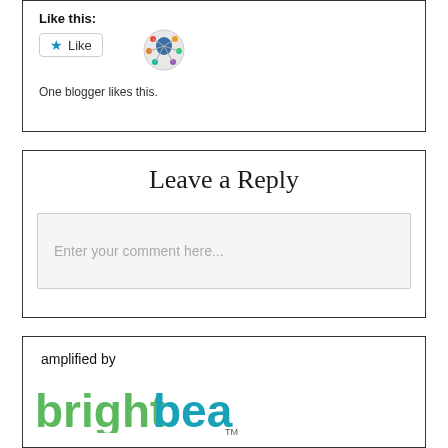Like this:
[Figure (illustration): Like button with star icon and an avatar/blogger icon circle]
One blogger likes this.
Leave a Reply
Enter your comment here...
[Figure (logo): amplified by brightbeam logo with green and teal colored text]